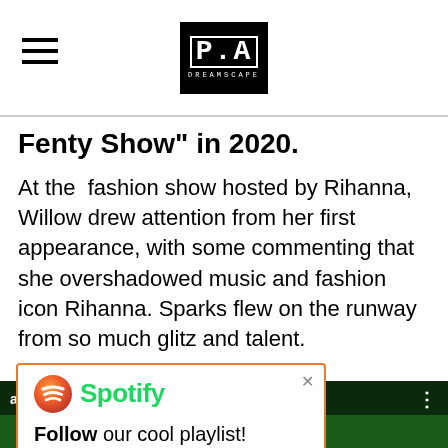P.A DREAMSCAPE
Fenty Show" in 2020.
At the  fashion show hosted by Rihanna, Willow drew attention from her first appearance, with some commenting that she overshadowed music and fashion icon Rihanna. Sparks flew on the runway from so much glitz and talent.
[Figure (screenshot): Spotify ad popup with orange border showing Spotify logo and text 'Follow our cool playlist!']
[Figure (screenshot): YouTube video thumbnail showing a dark-clothed person on a green background with video title 'avage x Fenty Sh...' and YouTube play button]